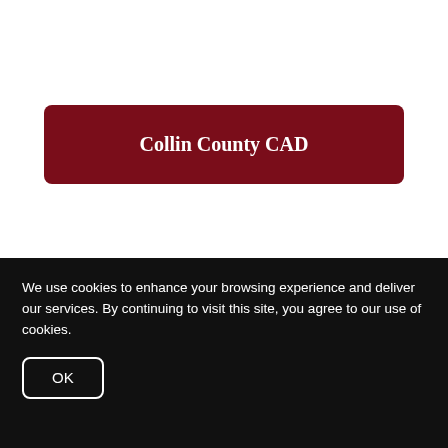Collin County CAD
We use cookies to enhance your browsing experience and deliver our services. By continuing to visit this site, you agree to our use of cookies.
OK